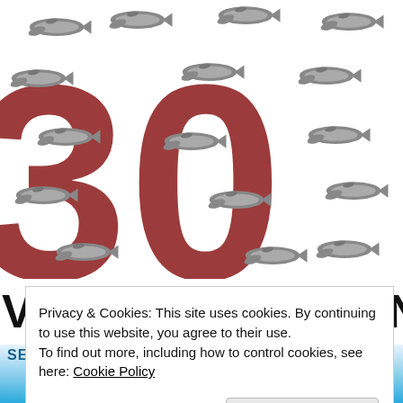[Figure (illustration): Large dark red/maroon '30' numerals in background with multiple illustrated vaquita porpoise/dolphin figures overlaid across the image in a repeating pattern]
VAQUITAS REMAIN
[Figure (illustration): Light blue gradient band, transitioning from pale blue at top to brighter blue at bottom]
SEARCH V-LOG
Privacy & Cookies: This site uses cookies. By continuing to use this website, you agree to their use.
To find out more, including how to control cookies, see here: Cookie Policy
Close and accept